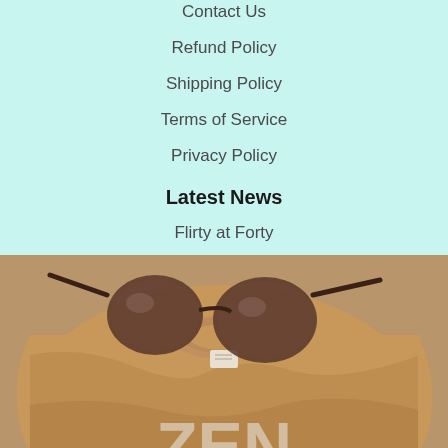Contact Us
Refund Policy
Shipping Policy
Terms of Service
Privacy Policy
Latest News
Flirty at Forty
[Figure (photo): A tan/camel colored t-shirt with the word ZEN printed in large light letters, with cat-eye sunglasses resting on top of the shirt on a wooden surface.]